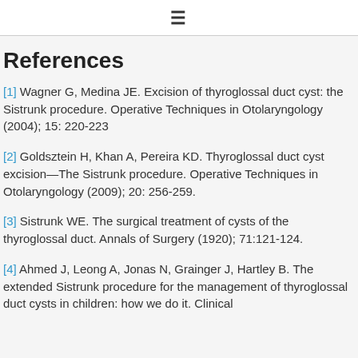≡
References
[1] Wagner G, Medina JE. Excision of thyroglossal duct cyst: the Sistrunk procedure. Operative Techniques in Otolaryngology (2004); 15: 220-223
[2] Goldsztein H, Khan A, Pereira KD. Thyroglossal duct cyst excision—The Sistrunk procedure. Operative Techniques in Otolaryngology (2009); 20: 256-259.
[3] Sistrunk WE. The surgical treatment of cysts of the thyroglossal duct. Annals of Surgery (1920); 71:121-124.
[4] Ahmed J, Leong A, Jonas N, Grainger J, Hartley B. The extended Sistrunk procedure for the management of thyroglossal duct cysts in children: how we do it. Clinical